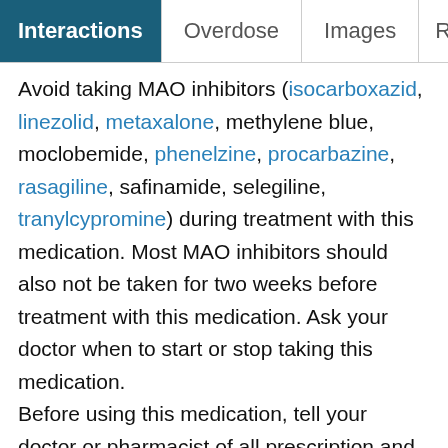Interactions | Overdose | Images | Reviews
Avoid taking MAO inhibitors (isocarboxazid, linezolid, metaxalone, methylene blue, moclobemide, phenelzine, procarbazine, rasagiline, safinamide, selegiline, tranylcypromine) during treatment with this medication. Most MAO inhibitors should also not be taken for two weeks before treatment with this medication. Ask your doctor when to start or stop taking this medication.
Before using this medication, tell your doctor or pharmacist of all prescription and